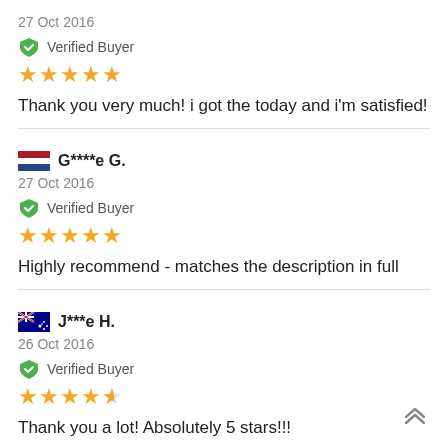27 Oct 2016
Verified Buyer
★★★★★
Thank you very much! i got the today and i'm satisfied!
G****e G.
27 Oct 2016
Verified Buyer
★★★★★
Highly recommend - matches the description in full
J***e H.
26 Oct 2016
Verified Buyer
★★★★☆
Thank you a lot! Absolutely 5 stars!!!